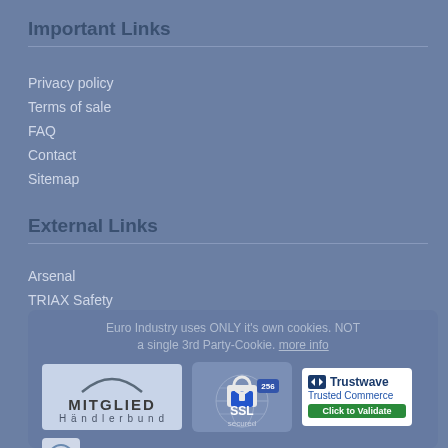Important Links
Privacy policy
Terms of sale
FAQ
Contact
Sitemap
External Links
Arsenal
TRIAX Safety
Euro Industry uses ONLY it's own cookies. NOT a single 3rd Party-Cookie. more info
[Figure (logo): MITGLIED Händlerbund logo with arc graphic, SSL 256 secured badge, Trustwave Trusted Commerce Click to Validate badge, and a small icon at the bottom left]